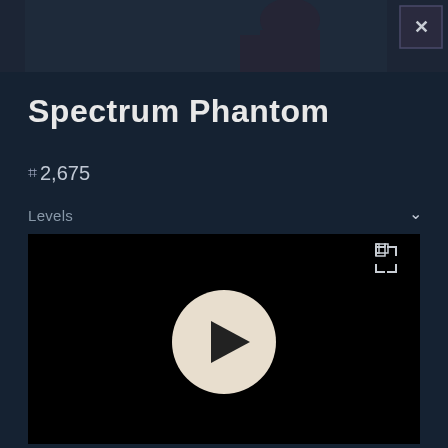[Figure (screenshot): Top banner area showing a dark game UI with a partial figure/character silhouette and an X close button in the top right corner]
Spectrum Phantom
⌗2,675
Levels
[Figure (screenshot): A video player with black background, a fullscreen icon in top right, and a large beige/cream play button circle with dark triangle in the center]